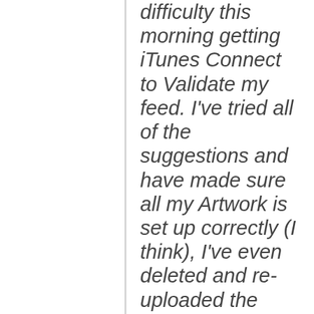difficulty this morning getting iTunes Connect to Validate my feed. I've tried all of the suggestions and have made sure all my Artwork is set up correctly (I think), I've even deleted and re-uploaded the episode.
The Episode is showing up in iTunes